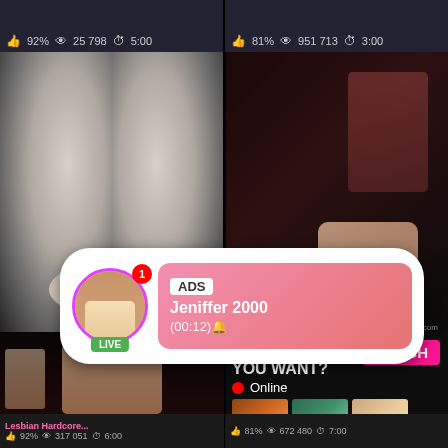92% | 25 798 | 5:00
81% | 951 713 | 3:00
[Figure (screenshot): VR video thumbnail showing fisheye bathroom scene]
[Figure (screenshot): Dark scene video thumbnail]
[Figure (infographic): Ad overlay popup with avatar circle showing LIVE badge, notification badge showing 1, pink gradient box with ADS label, name Jeniffer 2000, time (00:12)]
ADS
Jeniffer 2000
(00:12)
BIG OI... | 96%
[Figure (screenshot): Bottom left video thumbnail]
WHAT DO YOU WANT?
WATCH
Online
Cumming, ass fucking, squirt or...
• ADS
Lesbian Hardcore... | 92% | 317 051 | 6:00
81% | 672 480 | 7:00